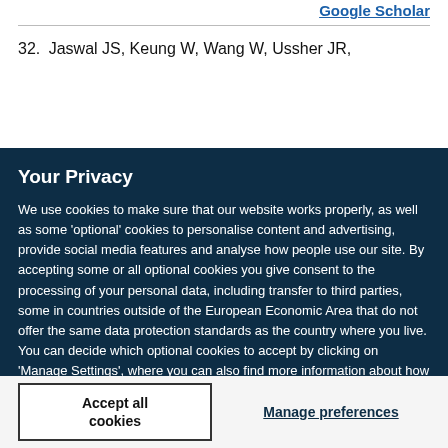Google Scholar
32. Jaswal JS, Keung W, Wang W, Ussher JR,
Your Privacy
We use cookies to make sure that our website works properly, as well as some 'optional' cookies to personalise content and advertising, provide social media features and analyse how people use our site. By accepting some or all optional cookies you give consent to the processing of your personal data, including transfer to third parties, some in countries outside of the European Economic Area that do not offer the same data protection standards as the country where you live. You can decide which optional cookies to accept by clicking on 'Manage Settings', where you can also find more information about how your personal data is processed. Further information can be found in our privacy policy.
Accept all cookies
Manage preferences